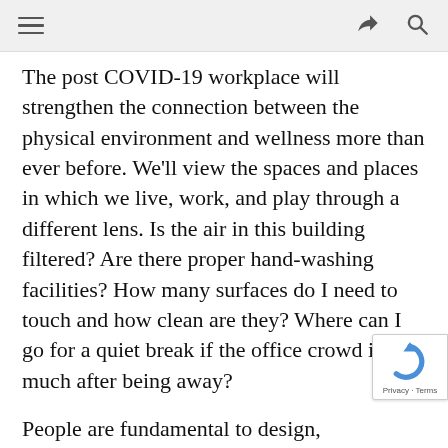[hamburger menu icon] [share icon] [search icon]
The post COVID-19 workplace will strengthen the connection between the physical environment and wellness more than ever before. We'll view the spaces and places in which we live, work, and play through a different lens. Is the air in this building filtered? Are there proper hand-washing facilities? How many surfaces do I need to touch and how clean are they? Where can I go for a quiet break if the office crowd is too much after being away?
People are fundamental to design, construction, operations, and development decisions. When we focus on the human experience of the buildings spaces we design, we have the ability to add meaningful value to real estate assets, generate